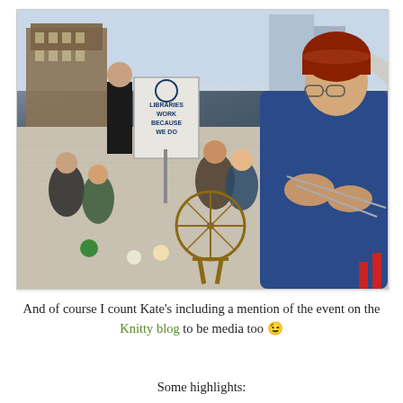[Figure (photo): Outdoor protest/rally scene in a city plaza. A woman in a red knitted hat and blue cardigan sits in the foreground knitting. Behind her a crowd of people sit on the ground with crafts and a spinning wheel. A person holds a sign reading 'LIBRARIES WORK BECAUSE WE DO'. City buildings are visible in the background.]
And of course I count Kate's including a mention of the event on the Knitty blog to be media too 😉
Some highlights: